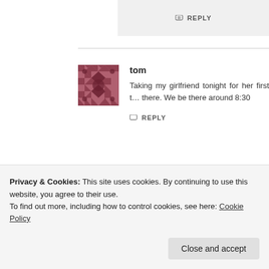REPLY
tom
Taking my girlfriend tonight for her first t... there. We be there around 8:30
REPLY
The Craigslist Orgy | Tales From The Bungalow
says:
Privacy & Cookies: This site uses cookies. By continuing to use this website, you agree to their use.
To find out more, including how to control cookies, see here: Cookie Policy
Close and accept